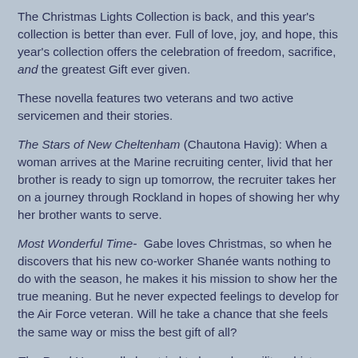The Christmas Lights Collection is back, and this year's collection is better than ever. Full of love, joy, and hope, this year's collection offers the celebration of freedom, sacrifice, and the greatest Gift ever given.
These novella features two veterans and two active servicemen and their stories.
The Stars of New Cheltenham (Chautona Havig): When a woman arrives at the Marine recruiting center, livid that her brother is ready to sign up tomorrow, the recruiter takes her on a journey through Rockland in hopes of showing her why her brother wants to serve.
Most Wonderful Time- Gabe loves Christmas, so when he discovers that his new co-worker Shanée wants nothing to do with the season, he makes it his mission to show her the true meaning. But he never expected feelings to develop for the Air Force veteran. Will he take a chance that she feels the same way or miss the best gift of all?
The Road Home: ally has tried to leave her military history far in the past, but she's not ready to go back to her former life either. Or so she thinks, when she finds herself...